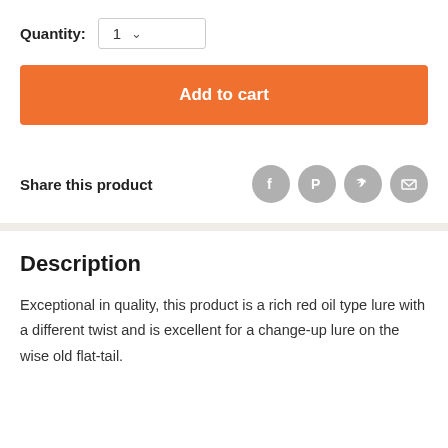Quantity: 1
Add to cart
Share this product
Description
Exceptional in quality, this product is a rich red oil type lure with a different twist and is excellent for a change-up lure on the wise old flat-tail.